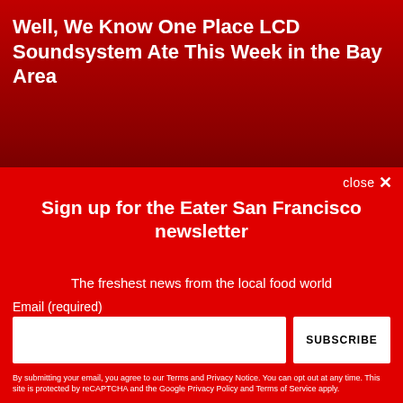Well, We Know One Place LCD Soundsystem Ate This Week in the Bay Area
close ×
Sign up for the Eater San Francisco newsletter
The freshest news from the local food world
Email (required)
SUBSCRIBE
By submitting your email, you agree to our Terms and Privacy Notice. You can opt out at any time. This site is protected by reCAPTCHA and the Google Privacy Policy and Terms of Service apply.